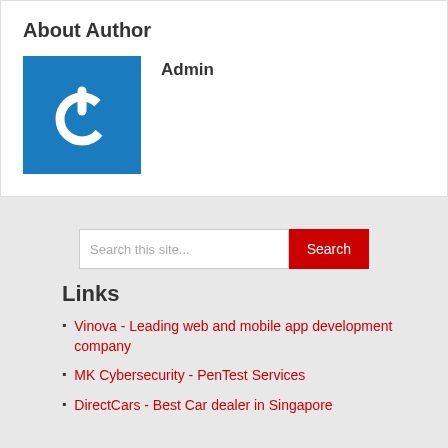About Author
[Figure (logo): Blue square with white power/on button icon]
Admin
Search this site...
Links
Vinova - Leading web and mobile app development company
MK Cybersecurity - PenTest Services
DirectCars - Best Car dealer in Singapore